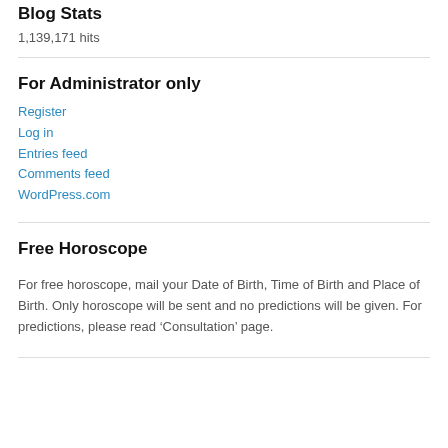Blog Stats
1,139,171 hits
For Administrator only
Register
Log in
Entries feed
Comments feed
WordPress.com
Free Horoscope
For free horoscope, mail your Date of Birth, Time of Birth and Place of Birth. Only horoscope will be sent and no predictions will be given. For predictions, please read ‘Consultation’ page.